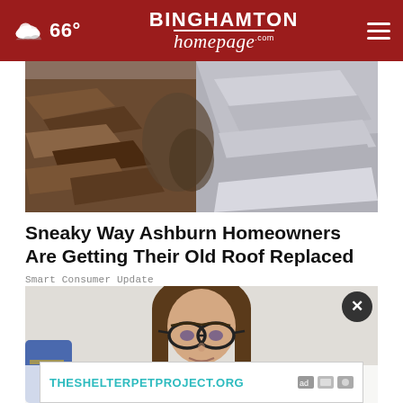66° | BINGHAMTON homepage.com
[Figure (photo): Damaged roof shingles — broken and displaced asphalt shingles showing wear and damage]
Sneaky Way Ashburn Homeowners Are Getting Their Old Roof Replaced
Smart Consumer Update
[Figure (photo): Young woman with brown hair wearing glasses, looking up thoughtfully, holding a credit card. Advertisement overlay at bottom: THESHELTERPETPROJECT.ORG]
THESHELTERPETPROJECT.ORG